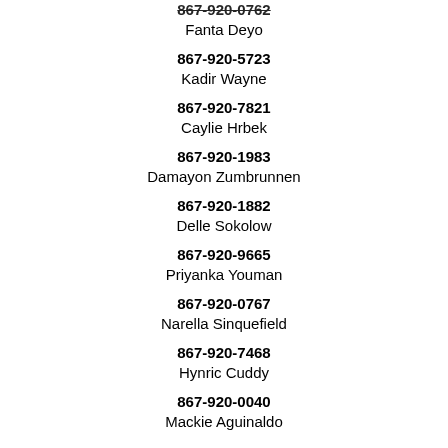867-920-0762 / Fanta Deyo
867-920-5723 / Kadir Wayne
867-920-7821 / Caylie Hrbek
867-920-1983 / Damayon Zumbrunnen
867-920-1882 / Delle Sokolow
867-920-9665 / Priyanka Youman
867-920-0767 / Narella Sinquefield
867-920-7468 / Hynric Cuddy
867-920-0040 / Mackie Aguinaldo